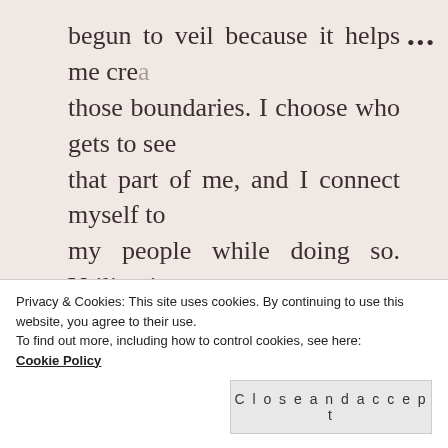begun to veil because it helps me create those boundaries. I choose who gets to see that part of me, and I connect myself to my people while doing so. Veiling is protection. Veiling is freedom. Veiling is choice.
Rachel is a librarian pursuing her PhD in
Privacy & Cookies: This site uses cookies. By continuing to use this website, you agree to their use.
To find out more, including how to control cookies, see here:
Cookie Policy
Close and accept
short stories, grammar and erotisme in